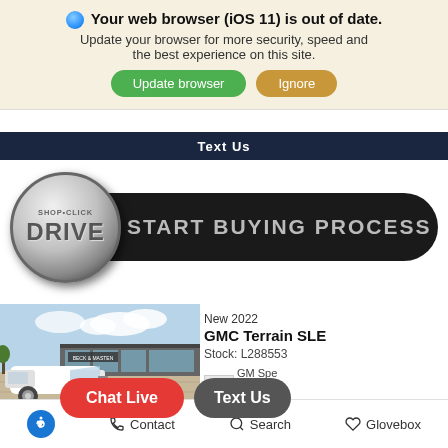🌐 Your web browser (iOS 11) is out of date. Update your browser for more security, speed and the best experience on this site.
Update browser
Ignore
Text Us
[Figure (logo): Shop-Click Drive logo coin with black pill bar reading START BUYING PROCESS]
[Figure (photo): White GMC Terrain SUV parked in front of Beck & Masten dealership]
New 2022
GMC Terrain SLE
Stock: L288553
GM Spe Eve #4
Chat Live
Text Us
Contact  Search  Glovebox